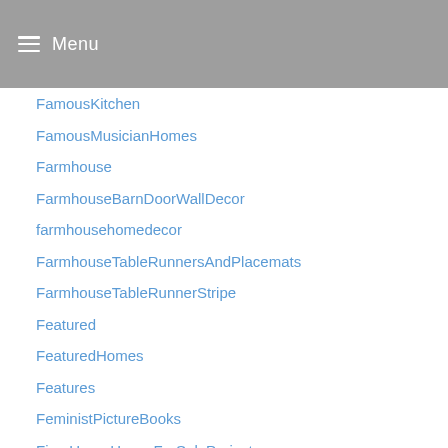Menu
FamousKitchen
FamousMusicianHomes
Farmhouse
FarmhouseBarnDoorWallDecor
farmhousehomedecor
FarmhouseTableRunnersAndPlacemats
FarmhouseTableRunnerStripe
Featured
FeaturedHomes
Features
FeministPictureBooks
FixerUpperHouseForSaleProjects
FloatingComputerShelves
FloatingShelfComputerMonitor
FloatingShelves
Floor24
Floordirekt